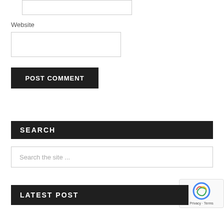Website
POST COMMENT
SEARCH
Search the site ...
LATEST POST